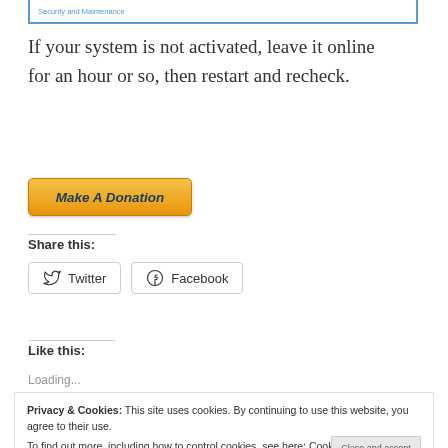[Figure (screenshot): Top portion of a Windows Security and Maintenance dialog box, showing the blue border and label text 'Security and Maintenance']
If your system is not activated, leave it online for an hour or so, then restart and recheck.
[Figure (other): Make A Donation button with golden/yellow gradient background and italic bold dark blue text]
Share this:
[Figure (other): Twitter and Facebook share buttons with icons]
Like this:
Loading...
Privacy & Cookies: This site uses cookies. By continuing to use this website, you agree to their use. To find out more, including how to control cookies, see here: Cookie Policy